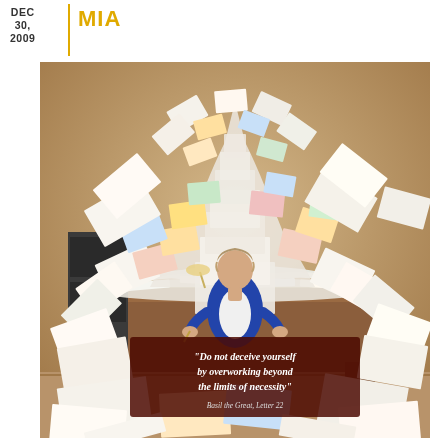DEC 30, 2009 | MIA
[Figure (photo): Woman in blue blazer sitting at a wooden desk completely overwhelmed by an enormous pile of papers and documents that tower above her and scatter all around the floor. The papers form a massive chaotic mountain behind and around her. A quote overlay reads: 'Do not deceive yourself by overworking beyond the limits of necessity' — Basil the Great, Letter 22]
"Do not deceive yourself by overworking beyond the limits of necessity" — Basil the Great, Letter 22